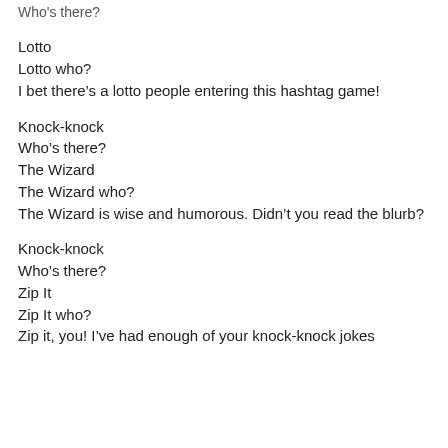Who's there?
Lotto
Lotto who?
I bet there’s a lotto people entering this hashtag game!
Knock-knock
Who’s there?
The Wizard
The Wizard who?
The Wizard is wise and humorous. Didn’t you read the blurb?
Knock-knock
Who’s there?
Zip It
Zip It who?
Zip it, you! I’ve had enough of your knock-knock jokes